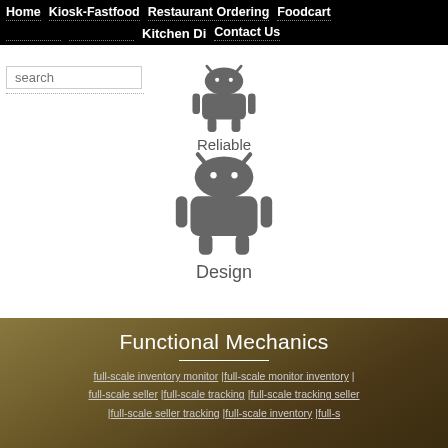Home  Kiosk-Fastfood  Restaurant Ordering  Foodcart
Kitchen Display  Contact Us
[Figure (screenshot): Search box and navigation partial row with dotted underlines]
[Figure (illustration): Small Android robot icon with label 'Reliable']
[Figure (illustration): Large Android robot icon with label 'Design']
Functional Mechanics
full-scale inventory monitor | full-scale monitor inventory | full-scale seller | full-scale tracking | full-scale tracking seller | full-scale seller tracking | full-scale inventory | full-scale